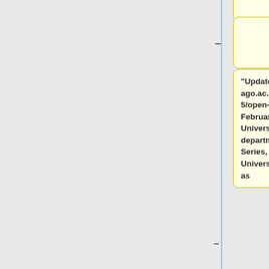"Update: [https://blogs.otago.ac.nz/openotago/2012/02/15/open-minds-open-publishing/ February presentation given] to University of Otago's heads of departments for the 'Open Minds' Series, and a workshop given to University of Otago Libraries staff as